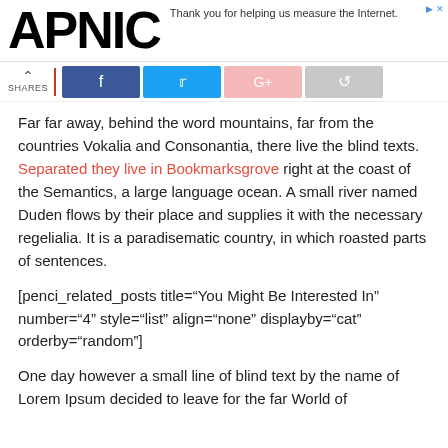APNIC — Thank you for helping us measure the Internet.
[Figure (screenshot): Social share bar with up arrow, shares label, red divider, and buttons for Facebook, Twitter, Google+, and a share icon]
Far far away, behind the word mountains, far from the countries Vokalia and Consonantia, there live the blind texts. Separated they live in Bookmarksgrove right at the coast of the Semantics, a large language ocean. A small river named Duden flows by their place and supplies it with the necessary regelialia. It is a paradisematic country, in which roasted parts of sentences.
[penci_related_posts title="You Might Be Interested In" number="4" style="list" align="none" displayby="cat" orderby="random"]
One day however a small line of blind text by the name of Lorem Ipsum decided to leave for the far World of